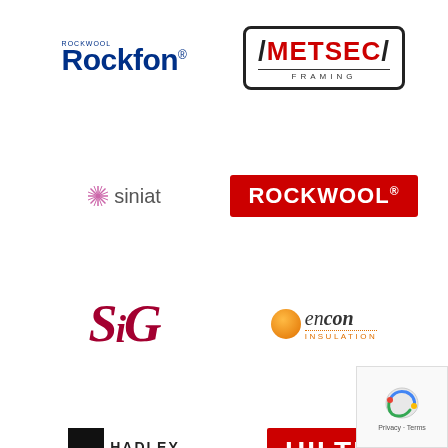[Figure (logo): Rockfon logo - blue text with Rockwool branding above]
[Figure (logo): Metsec Framing logo - red bold text in black rounded rectangle border]
[Figure (logo): Siniat logo - purple asterisk star icon with grey text]
[Figure (logo): Rockwool logo - white bold text on red background]
[Figure (logo): SiG logo - large italic dark red letters]
[Figure (logo): Encon Insulation logo - orange circle with italic text and dotted underline]
[Figure (logo): Hadley Group logo - stylised figure icon with bold uppercase text]
[Figure (logo): Hilti logo - white bold text on red background]
[Figure (logo): Kingspan logo - golden lion icon with blue bold text]
[Figure (logo): Celotex logo - white italic text on pink/magenta background]